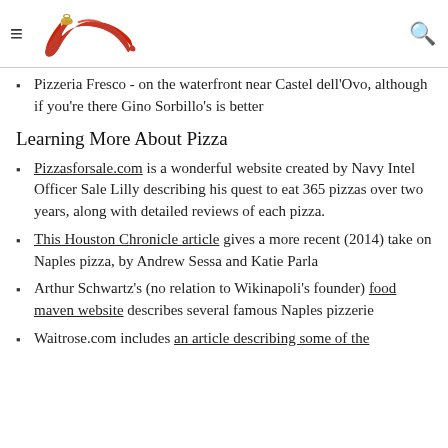≡ [logo: red chili pepper horn charm] 🔍
Pizzeria Fresco - on the waterfront near Castel dell'Ovo, although if you're there Gino Sorbillo's is better
Learning More About Pizza
Pizzasforsale.com is a wonderful website created by Navy Intel Officer Sale Lilly describing his quest to eat 365 pizzas over two years, along with detailed reviews of each pizza.
This Houston Chronicle article gives a more recent (2014) take on Naples pizza, by Andrew Sessa and Katie Parla
Arthur Schwartz's (no relation to Wikinapoli's founder) food maven website describes several famous Naples pizzerie
Waitrose.com includes an article describing some of the best Naples pizzas